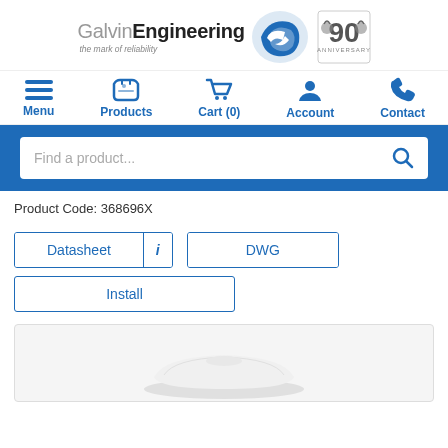[Figure (logo): Galvin Engineering logo with blue swoosh icon and 90th anniversary badge]
[Figure (infographic): Navigation bar with Menu, Products, Cart (0), Account, Contact icons in blue]
[Figure (screenshot): Blue search bar with 'Find a product...' placeholder text and search icon]
Product Code: 368696X
[Figure (screenshot): Datasheet button with info icon, DWG button]
[Figure (screenshot): Install button]
[Figure (photo): Product image of a white plumbing fixture/tapware component on light grey background]